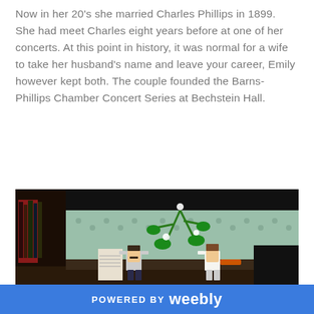Now in her 20's she married Charles Phillips in 1899.  She had meet Charles eight years before at one of her concerts. At this point in history, it was normal for a wife to take her husband's name and leave your career, Emily however kept both. The couple founded the Barns-Phillips Chamber Concert Series at Bechstein Hall.
[Figure (photo): A LEGO diorama scene showing two LEGO minifigures (a man with a mustache and a woman) with a green plant decoration and a small booklet/paper prop, set against a background with a patterned wallpaper and dark shelving.]
POWERED BY weebly